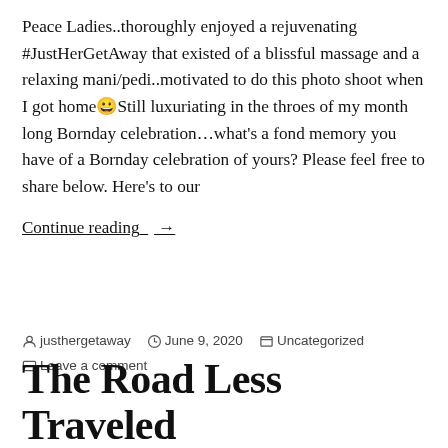Peace Ladies..thoroughly enjoyed a rejuvenating #JustHerGetAway that existed of a blissful massage and a relaxing mani/pedi..motivated to do this photo shoot when I got home😀Still luxuriating in the throes of my month long Bornday celebration…what's a fond memory you have of a Bornday celebration of yours? Please feel free to share below. Here's to our
Continue reading →
Posted by justhergetaway   June 9, 2020   Uncategorized   Leave a comment
The Road Less Traveled